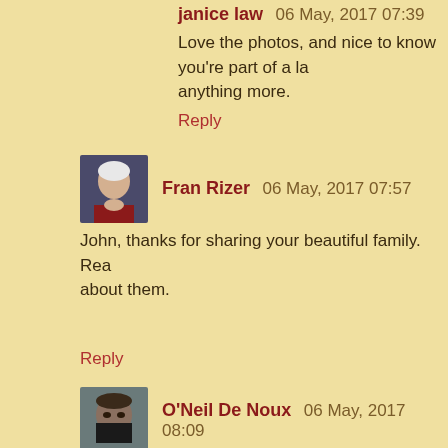janice law 06 May, 2017 07:39
Love the photos, and nice to know you're part of a la... anything more.
Reply
[Figure (photo): Avatar photo of Fran Rizer, a woman with short white hair wearing a red shirt]
Fran Rizer 06 May, 2017 07:57
John, thanks for sharing your beautiful family. Rea... about them.
Reply
[Figure (photo): Avatar photo of O'Neil De Noux, a person wearing a dark mask/scarf]
O'Neil De Noux 06 May, 2017 08:09
Love the Christmas green.
Reply